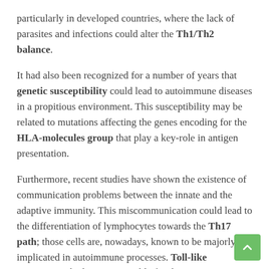particularly in developed countries, where the lack of parasites and infections could alter the Th1/Th2 balance.
It had also been recognized for a number of years that genetic susceptibility could lead to autoimmune diseases in a propitious environment. This susceptibility may be related to mutations affecting the genes encoding for the HLA-molecules group that play a key-role in antigen presentation.
Furthermore, recent studies have shown the existence of communication problems between the innate and the adaptive immunity. This miscommunication could lead to the differentiation of lymphocytes towards the Th17 path; those cells are, nowadays, known to be majorly implicated in autoimmune processes. Toll-like receptors, which are responsible for the innate recognition of pathogens, might also be implicated in the pathogenesis of those diseases.